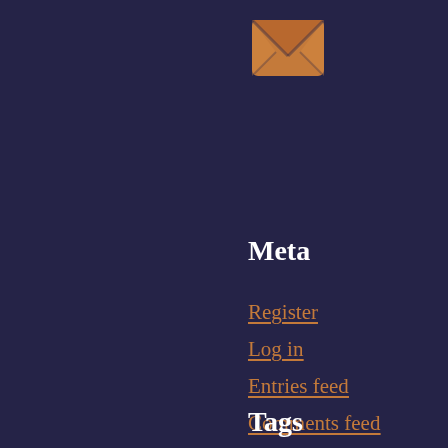[Figure (illustration): Orange envelope/mail icon with dark navy background]
Meta
Register
Log in
Entries feed
Comments feed
Tags